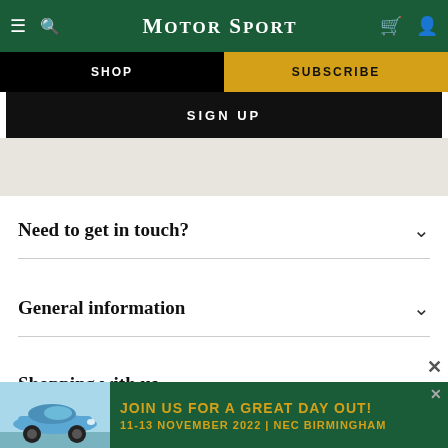Motor Sport
SHOP
SUBSCRIBE
SIGN UP
Need to get in touch?
General information
Shopping with us
[Figure (screenshot): Advertisement banner: light blue Porsche 911 car on left, green background with text 'JOIN US FOR A GREAT DAY OUT! 11-13 NOVEMBER 2022 | NEC BIRMINGHAM' in gold lettering, with close button (x)]